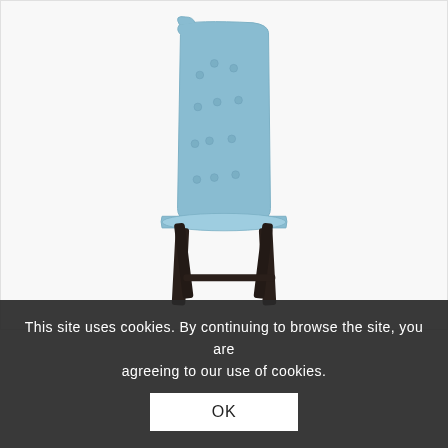[Figure (photo): A light blue upholstered dining chair with button-tufted high back and dark wooden legs, on a white background. An orange horizontal bar appears at the top of the page.]
This site uses cookies. By continuing to browse the site, you are agreeing to our use of cookies.
OK